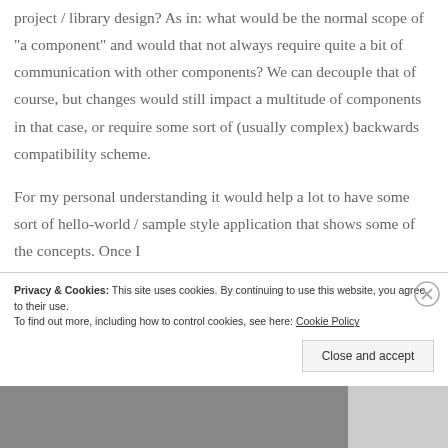project / library design? As in: what would be the normal scope of “a component” and would that not always require quite a bit of communication with other components? We can decouple that of course, but changes would still impact a multitude of components in that case, or require some sort of (usually complex) backwards compatibility scheme.
For my personal understanding it would help a lot to have some sort of hello-world / sample style application that shows some of the concepts. Once I
Privacy & Cookies: This site uses cookies. By continuing to use this website, you agree to their use.
To find out more, including how to control cookies, see here: Cookie Policy

Close and accept